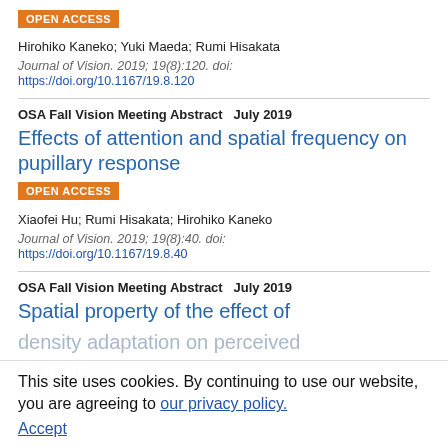OPEN ACCESS
Hirohiko Kaneko; Yuki Maeda; Rumi Hisakata
Journal of Vision. 2019; 19(8):120. doi: https://doi.org/10.1167/19.8.120
OSA Fall Vision Meeting Abstract    July 2019
Effects of attention and spatial frequency on pupillary response
OPEN ACCESS
Xiaofei Hu; Rumi Hisakata; Hirohiko Kaneko
Journal of Vision. 2019; 19(8):40. doi: https://doi.org/10.1167/19.8.40
OSA Fall Vision Meeting Abstract    July 2019
Spatial property of the effect of density adaptation on perceived brightness
Rumi Hisakata; Hirohiko Kaneko
Journal of Vision. 2019; 19(8):55. doi:
This site uses cookies. By continuing to use our website, you are agreeing to our privacy policy. Accept